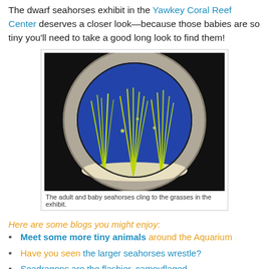The dwarf seahorses exhibit in the Yawkey Coral Reef Center deserves a closer look—because those babies are so tiny you'll need to take a good long look to find them!
[Figure (photo): Circular porthole view of an aquarium tank with blue background showing adult and baby seahorses clinging to yellow-green grassy plants on a white sandy bottom, surrounded by a gray concrete porthole frame against a black background.]
The adult and baby seahorses cling to the grasses in the exhibit.
Here are some blogs you might enjoy:
Meet some more tiny animals around the Aquarium
Have you seen the larger seahorses wrestle?
Seadragons are the flashier, camouflaged